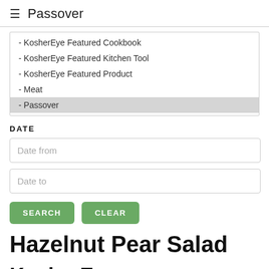≡  Passover
- KosherEye Featured Cookbook
- KosherEye Featured Kitchen Tool
- KosherEye Featured Product
- Meat
- Passover
DATE
Date from
Date to
SEARCH
CLEAR
Hazelnut Pear Salad
KosherEye.com